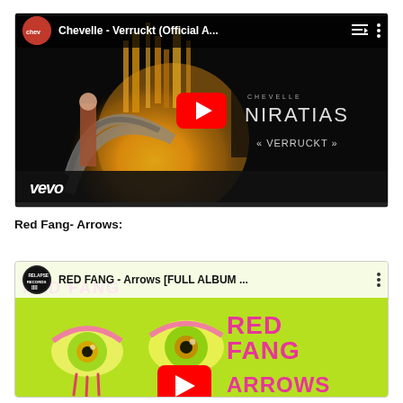[Figure (screenshot): YouTube video thumbnail for Chevelle - Verruckt (Official A...) with vevo branding. Dark fantasy artwork with a woman standing in a sci-fi landscape and a large yellow orb. Red YouTube play button in center. Title bar at top with channel avatar, video title, playlist and menu icons.]
Red Fang- Arrows:
[Figure (screenshot): YouTube video thumbnail for RED FANG - Arrows [FULL ALBUM ...] on Relapse Records. Bright yellow-green background with pink/green illustrated eyes and RED FANG ARROWS text in large pink letters. Red YouTube play button partially visible at bottom center.]